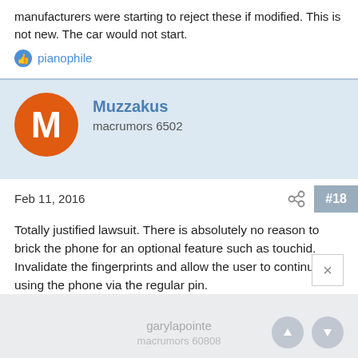manufacturers were starting to reject these if modified. This is not new. The car would not start.
pianophile
Muzzakus
macrumors 6502
Feb 11, 2016
#18
Totally justified lawsuit. There is absolutely no reason to brick the phone for an optional feature such as touchid. Invalidate the fingerprints and allow the user to continue using the phone via the regular pin.
attila, booksacool1, S G and 31 others
garylapointe